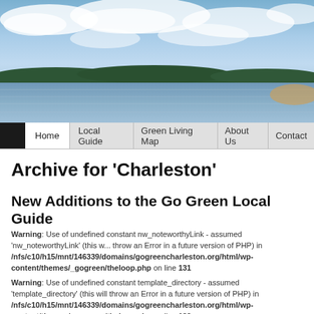[Figure (photo): Landscape photo of a river or lake with green tree line on the far shore, reflected in calm water, under a partly cloudy blue sky]
Home | Local Guide | Green Living Map | About Us | Contact
Archive for 'Charleston'
New Additions to the Go Green Local Guide
Warning: Use of undefined constant nw_noteworthyLink - assumed 'nw_noteworthyLink' (this will throw an Error in a future version of PHP) in /nfs/c10/h15/mnt/146339/domains/gogreencharleston.org/html/wp-content/themes/_gogreen/theloop.php on line 131
Warning: Use of undefined constant template_directory - assumed 'template_directory' (this will throw an Error in a future version of PHP) in /nfs/c10/h15/mnt/146339/domains/gogreencharleston.org/html/wp-content/themes/_gogreen/theloop.php on line 132
470 Comments   Posted December 5th, 2011 .